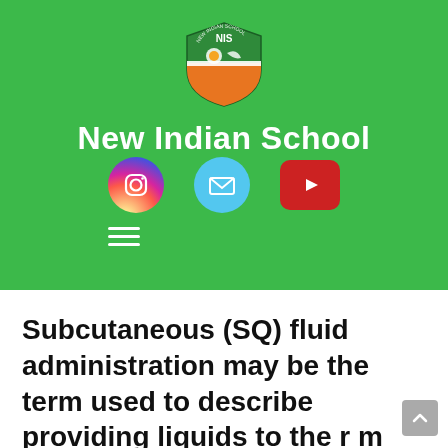[Figure (logo): New Indian School shield logo with NIS text, orange and green colors]
New Indian School
[Figure (infographic): Social media icons: Instagram (gradient circle), Email (blue circle), YouTube (red rounded rectangle), and hamburger menu icon]
Subcutaneous (SQ) fluid administration may be the term used to describe providing liquids to the r m underneath the skin